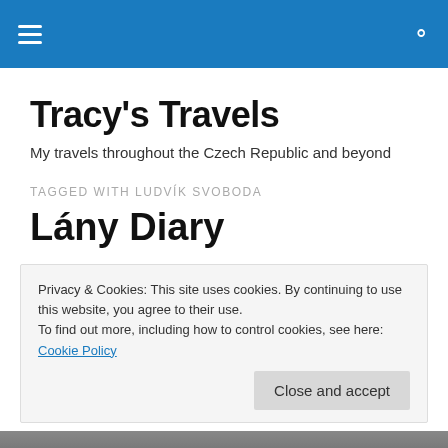Tracy's Travels — navigation bar with hamburger menu and search icon
Tracy's Travels
My travels throughout the Czech Republic and beyond
TAGGED WITH LUDVÍK SVOBODA
Lány Diary
Privacy & Cookies: This site uses cookies. By continuing to use this website, you agree to their use.
To find out more, including how to control cookies, see here: Cookie Policy
[Figure (photo): Partial photograph visible at the bottom of the page]